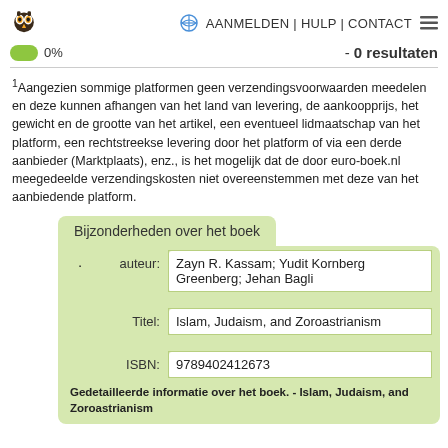AANMELDEN | HULP | CONTACT
0%  - 0 resultaten
1Aangezien sommige platformen geen verzendingsvoorwaarden meedelen en deze kunnen afhangen van het land van levering, de aankoopprijs, het gewicht en de grootte van het artikel, een eventueel lidmaatschap van het platform, een rechtstreekse levering door het platform of via een derde aanbieder (Marktplaats), enz., is het mogelijk dat de door euro-boek.nl meegedeelde verzendingskosten niet overeenstemmen met deze van het aanbiedende platform.
|  | auteur: | Zayn R. Kassam; Yudit Kornberg Greenberg; Jehan Bagli |
| --- | --- | --- |
|  | Titel: | Islam, Judaism, and Zoroastrianism |
|  | ISBN: | 9789402412673 |
Bijzonderheden over het boek
Gedetailleerde informatie over het boek. - Islam, Judaism, and Zoroastrianism